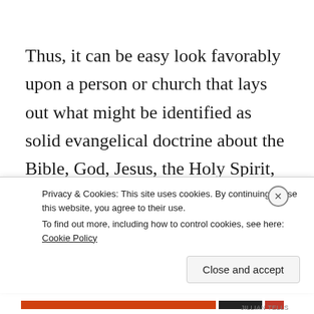Thus, it can be easy look favorably upon a person or church that lays out what might be identified as solid evangelical doctrine about the Bible, God, Jesus, the Holy Spirit, salvation, water baptism, heaven, hell, and a few other things, even though there might be a
Privacy & Cookies: This site uses cookies. By continuing to use this website, you agree to their use.
To find out more, including how to control cookies, see here: Cookie Policy
Close and accept